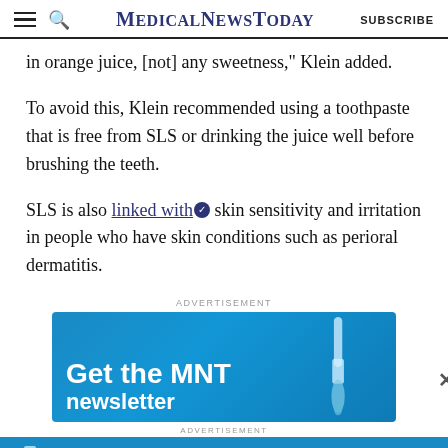MedicalNewsToday — SUBSCRIBE
in orange juice, [not] any sweetness," Klein added.
To avoid this, Klein recommended using a toothpaste that is free from SLS or drinking the juice well before brushing the teeth.
SLS is also linked with skin sensitivity and irritation in people who have skin conditions such as perioral dermatitis.
ADVERTISEMENT
[Figure (infographic): MNT advertisement banner with 'Get the MNT newsletter' text on blue background with dropper illustration]
ADVERTISEMENT
[Figure (infographic): Bottom MNT newsletter ad bar with Subscribe button]